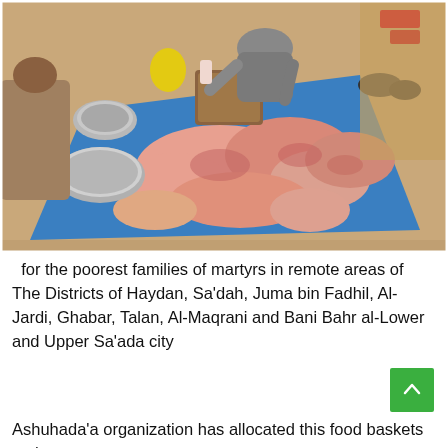[Figure (photo): Overhead view of men sitting around a blue mat on which cuts of raw meat (lamb/goat carcasses) are laid out, with metal bowls and a wooden chopping block visible.]
for the poorest families of martyrs in remote areas of The Districts of Haydan, Sa'dah, Juma bin Fadhil, Al-Jardi, Ghabar, Talan, Al-Maqrani and Bani Bahr al-Lower and Upper Sa'ada city
Ashuhada'a organization has allocated this food baskets to the